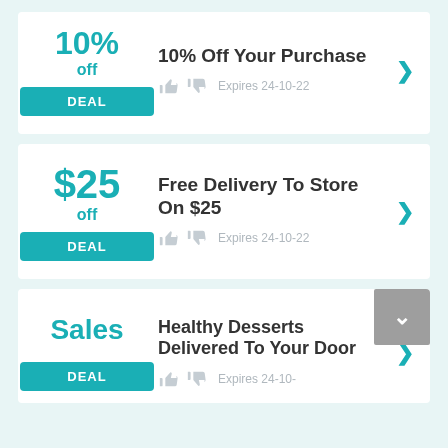10% off — DEAL — 10% Off Your Purchase — Expires 24-10-22
$25 off — DEAL — Free Delivery To Store On $25 — Expires 24-10-22
Sales — DEAL — Healthy Desserts Delivered To Your Door — Expires 24-10-22